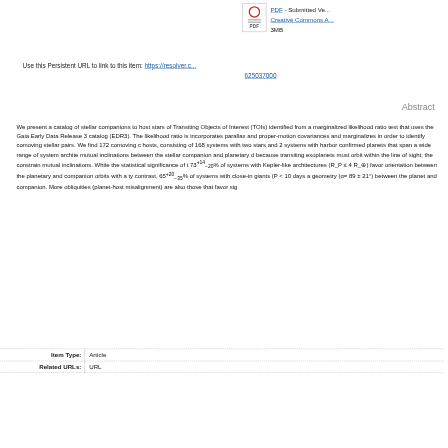[Figure (other): PDF icon with red circle and horizontal lines, labeled PDF]
PDF - Submitted Ve...
Creative Commons A...
3MB
Use this Persistent URL to link to this item: https://resolver.c...625037000
Abstract
We present a catalog of stellar companions to host stars of Transiting Objects of Interest (TOIs) identified from a marginalized likelihood ratio test that uses the Gaia Early Data Release 3 catalog (EDR3). The likelihood ratio incorporates parallax and proper-motion covariances and marginalizes over inclinations in order to identify comoving stellar pairs. We find 172 comoving companions to TOI hosts, consisting of 168 systems with two stars and 2 systems with three stars. 58 TOIs harbor confirmed planets that span a wide range of system architectures. We study mutual inclinations between the stellar companion and planetary orbits, which is possible because transiting exoplanets must orbit within the line of sight; this geometry can constrain mutual inclinations. While the statistical significance of the result is limited, 73+14-20% of systems with Kepler-like architectures (R_P ≤ 4 R_⊕) favor coplanar orientation between the planetary and companion orbits with a typical inclination. In contrast, 65+20-35% of systems with close-in giants (P < 10 days and R_P > 4 R_⊕) favor a geometry (α= 89 ± 21°) between the planet and companion. Moreover, systems with high obliquities (planet-host misalignment) are also those that favor significant mutual inclinations.
| Item Type: |  |
| --- | --- |
| Item Type: | Article |
| Related URLs: | URL |
Related URLs:
URL